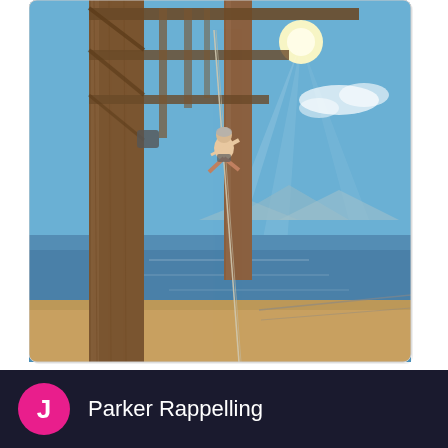[Figure (photo): A person rappelling or climbing at the top of a tall wooden structure (log poles with cross beams), with a bright sun causing lens flare, blue sky, and a body of water (lake or sea) with mountains in the background.]
Parker Rappelling